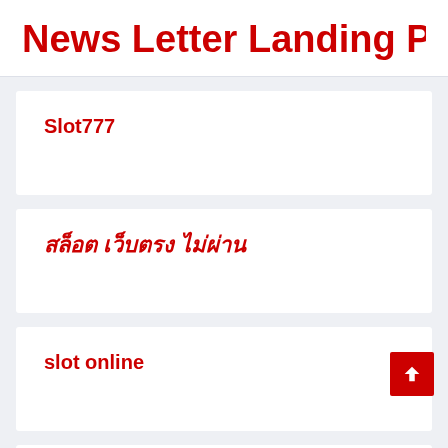News Letter Landing Page
Slot777
สล็อต เว็บตรง ไม่ผ่าน
slot online
(partial, cut off at bottom)